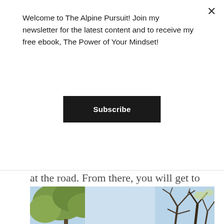Welcome to The Alpine Pursuit! Join my newsletter for the latest content and to receive my free ebook, The Power of Your Mindset!
Subscribe
at the road. From there, you will get to experience taking a ride on a horse-drawn railway. You will be on a trip for the next few hours to four different cenotes.
[Figure (photo): Looking up through tree canopies against a light blue sky, with both leafy green trees on the left and bare branched trees on the right.]